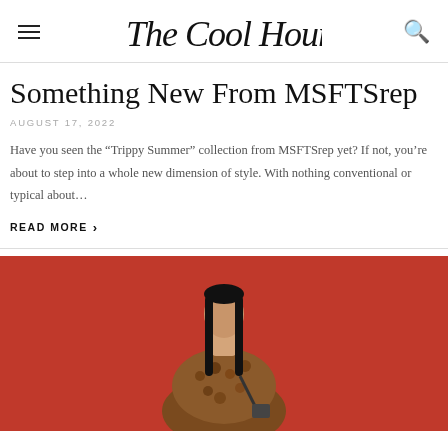The Cool Hour
Something New From MSFTSrep
AUGUST 17, 2022
Have you seen the “Trippy Summer” collection from MSFTSrep yet? If not, you’re about to step into a whole new dimension of style. With nothing conventional or typical about…
READ MORE ›
[Figure (photo): Fashion model with long dark hair wearing a brown textured/furry coat with a bag strap, standing against a bright red background]